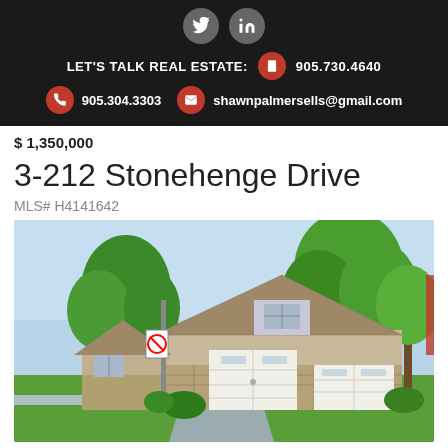LET'S TALK REAL ESTATE: 905.730.4640 | 905.304.3303 | shawnpalmersells@gmail.com
$ 1,350,000
3-212 Stonehenge Drive
MLS# H4141642
[Figure (photo): Exterior photo of a residential townhouse at 3-212 Stonehenge Drive. Beige/tan brick and siding house with a white garage door, dormered roof, surrounded by large green trees on a sunny day. A no-parking sign post is visible on the left side.]